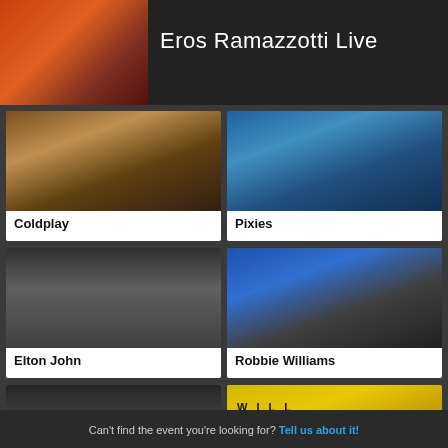[Figure (photo): Eros Ramazzotti performing live on stage, singer in dark clothing with orange/red stage lighting]
Eros Ramazzotti Live
[Figure (photo): Coldplay performing live on stage with warm amber/golden lighting]
Coldplay
[Figure (photo): Pixies performing live on stage with blue lighting, guitarist visible]
Pixies
[Figure (photo): Elton John portrait with signature red/orange tinted glasses]
Elton John
[Figure (photo): Robbie Williams performing in blue suit, pointing at camera with geometric cube background]
Robbie Williams
[Figure (photo): Westlife group photo of four male members against dark background]
Westlife
[Figure (photo): Will Young Love album artwork with yellow/gold background and text WILL YOUNG LOVE]
Will Young
Can't find the event you're looking for? Tell us about it!